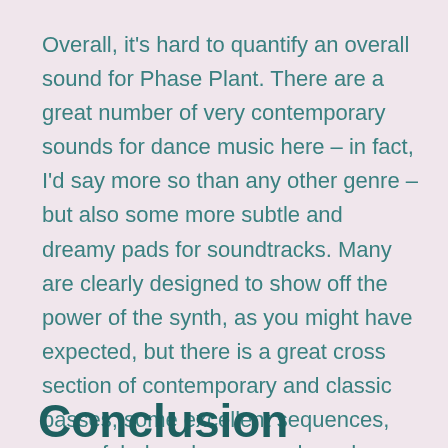Overall, it's hard to quantify an overall sound for Phase Plant. There are a great number of very contemporary sounds for dance music here – in fact, I'd say more so than any other genre – but also some more subtle and dreamy pads for soundtracks. Many are clearly designed to show off the power of the synth, as you might have expected, but there is a great cross section of contemporary and classic basses, some excellent sequences, some fabulous keys sounds and even a good variety of drum and percussion sounds.
Conclusion